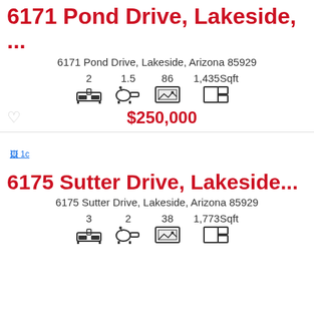6171 Pond Drive, Lakeside, ...
6171 Pond Drive, Lakeside, Arizona 85929
2  1.5  86  1,435Sqft
$250,000
[Figure (other): Broken image placeholder labeled 1c]
6175 Sutter Drive, Lakeside...
6175 Sutter Drive, Lakeside, Arizona 85929
3  2  38  1,773Sqft